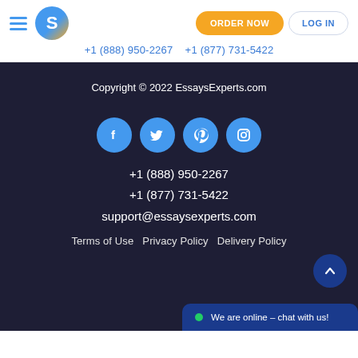EssaysExperts.com header with logo, ORDER NOW button, LOG IN button, +1 (888) 950-2267   +1 (877) 731-5422
Copyright © 2022 EssaysExperts.com
[Figure (infographic): Social media icons: Facebook, Twitter, Pinterest, Instagram — blue circles]
+1 (888) 950-2267
+1 (877) 731-5422
support@essaysexperts.com
Terms of Use  Privacy Policy  Delivery Policy
We are online – chat with us!